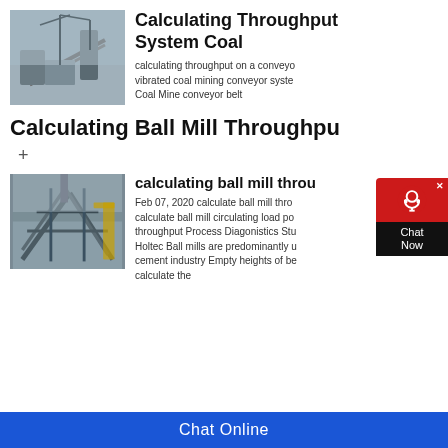[Figure (photo): Aerial view of a coal mining conveyor system with industrial equipment in winter/dusty conditions]
Calculating Throughput System Coal
calculating throughput on a conveyor vibrated coal mining conveyor system Coal Mine conveyor belt
Calculating Ball Mill Throughput
+
[Figure (photo): Industrial steel structure/mill building, appears damaged or under construction, heavy industrial setting]
calculating ball mill throughput
Feb 07, 2020 calculate ball mill throughput calculate ball mill circulating load po throughput Process Diagonistics Stu Holtec Ball mills are predominantly used cement industry Empty heights of be calculate the
Chat Online